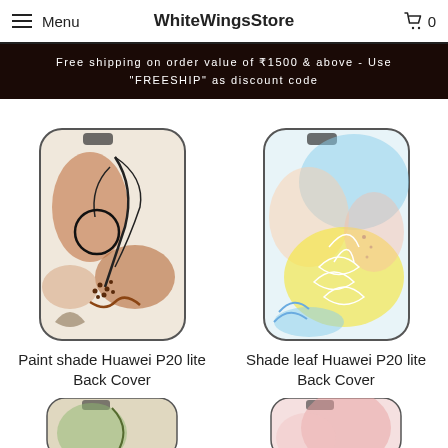Menu | WhiteWingsStore | Cart 0
Free shipping on order value of ₹1500 & above - Use "FREESHIP" as discount code
[Figure (photo): Paint shade Huawei P20 lite Back Cover - phone case with abstract paint shade design in brown/terracotta tones]
Paint shade Huawei P20 lite Back Cover
₹ 99.00
[Figure (photo): Shade leaf Huawei P20 lite Back Cover - phone case with colorful abstract leaf design in pastel tones]
Shade leaf Huawei P20 lite Back Cover
₹ 99.00
[Figure (photo): Partial view of two more phone cases at the bottom of the page]